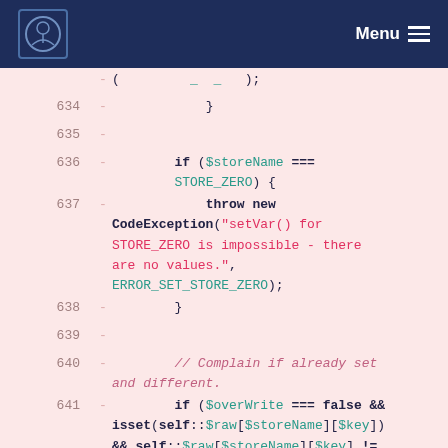Menu
Code listing lines 634–642, PHP diff showing removed lines with store name and exception handling logic